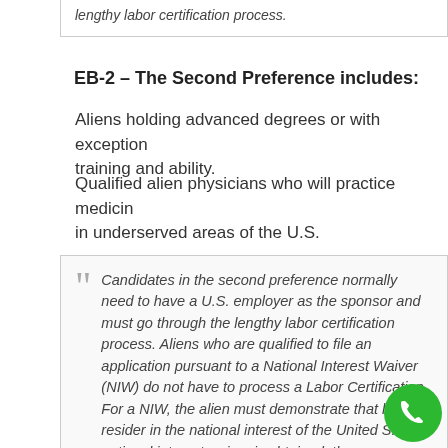lengthy labor certification process.
EB-2 – The Second Preference includes:
Aliens holding advanced degrees or with exceptional training and ability.
Qualified alien physicians who will practice medicine in underserved areas of the U.S.
Candidates in the second preference normally need to have a U.S. employer as the sponsor and must go through the lengthy labor certification process. Aliens who are qualified to file an application pursuant to a National Interest Waiver (NIW) do not have to process a Labor Certification. For a NIW, the alien must demonstrate that his/her residence in the national interest of the United S... If a national interest waiver is obtained, the